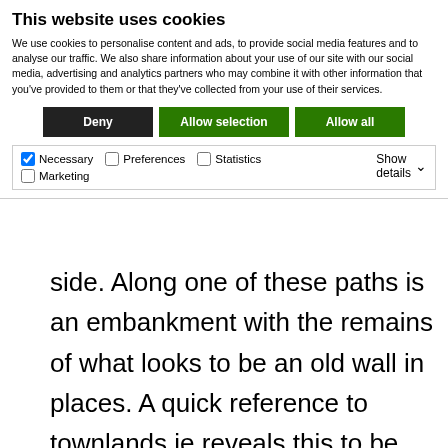This website uses cookies
We use cookies to personalise content and ads, to provide social media features and to analyse our traffic. We also share information about your use of our site with our social media, advertising and analytics partners who may combine it with other information that you've provided to them or that they've collected from your use of their services.
Deny | Allow selection | Allow all
Necessary  Preferences  Statistics  Marketing  Show details
side. Along one of these paths is an embankment with the remains of what looks to be an old wall in places. A quick reference to townlands.ie reveals this to be the boundary line between the townlands of Lugg and Crockaunadreenagh.